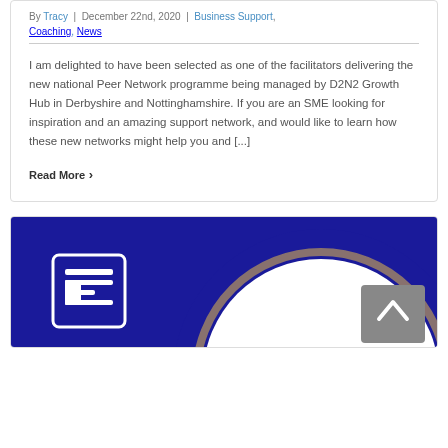By Tracy | December 22nd, 2020 | Business Support, Coaching, News
I am delighted to have been selected as one of the facilitators delivering the new national Peer Network programme being managed by D2N2 Growth Hub in Derbyshire and Nottinghamshire. If you are an SME looking for inspiration and an amazing support network, and would like to learn how these new networks might help you and [...]
Read More
[Figure (illustration): Partial view of a circular navy blue ring/donut shape with a newspaper/document icon in the upper left corner on a navy blue background, and a grey scroll-to-top button in the lower right corner.]